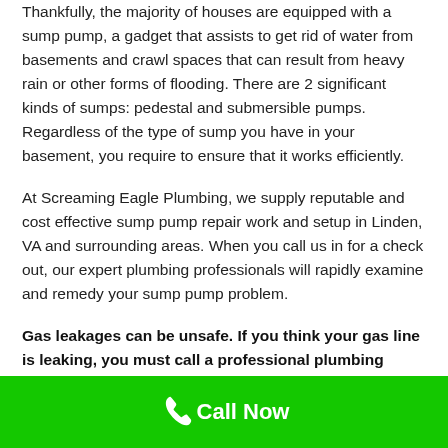Thankfully, the majority of houses are equipped with a sump pump, a gadget that assists to get rid of water from basements and crawl spaces that can result from heavy rain or other forms of flooding. There are 2 significant kinds of sumps: pedestal and submersible pumps. Regardless of the type of sump you have in your basement, you require to ensure that it works efficiently.
At Screaming Eagle Plumbing, we supply reputable and cost effective sump pump repair work and setup in Linden, VA and surrounding areas. When you call us in for a check out, our expert plumbing professionals will rapidly examine and remedy your sump pump problem.
Gas leakages can be unsafe. If you think your gas line is leaking, you must call a professional plumbing technician right away.
Call Now